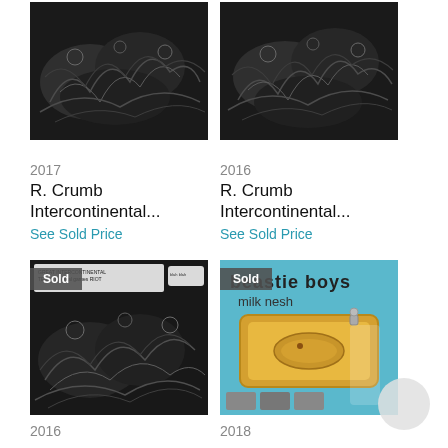[Figure (illustration): R. Crumb black and white illustration, chaotic figures]
[Figure (illustration): R. Crumb black and white illustration, chaotic figures (duplicate/variant)]
2017
R. Crumb
Intercontinental...
See Sold Price
2016
R. Crumb
Intercontinental...
See Sold Price
[Figure (illustration): R. Crumb black and white illustration with Sold badge, chaotic figures]
[Figure (photo): Beastie Boys album/poster with Sold badge, blue background with sardine tin]
2016
2018